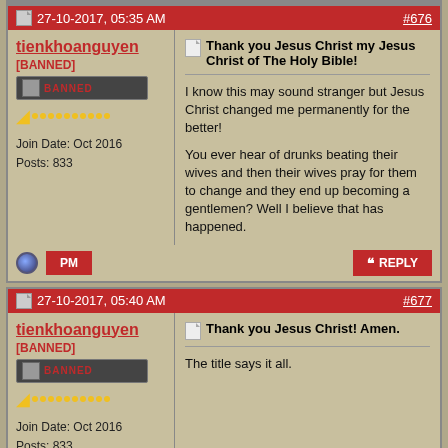Post #676 by tienkhoanguyen on 27-10-2017, 05:35 AM. [BANNED]. Join Date: Oct 2016. Posts: 833. Title: Thank you Jesus Christ my Jesus Christ of The Holy Bible! Body: I know this may sound stranger but Jesus Christ changed me permanently for the better! You ever hear of drunks beating their wives and then their wives pray for them to change and they end up becoming a gentlemen? Well I believe that has happened.
Post #677 by tienkhoanguyen on 27-10-2017, 05:40 AM. [BANNED]. Join Date: Oct 2016. Posts: 833. Title: Thank you Jesus Christ! Amen. Body: The title says it all.